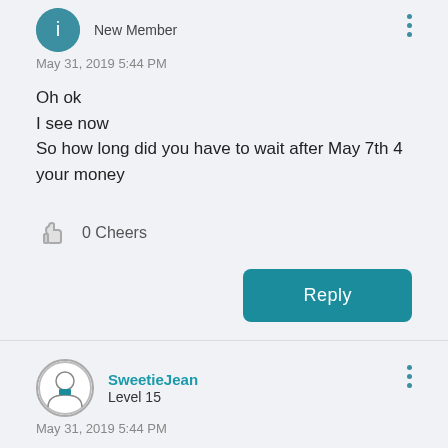New Member
May 31, 2019 5:44 PM
Oh ok
I see now
So how long did you have to wait after May 7th 4 your money
0 Cheers
Reply
SweetieJean
Level 15
May 31, 2019 5:44 PM